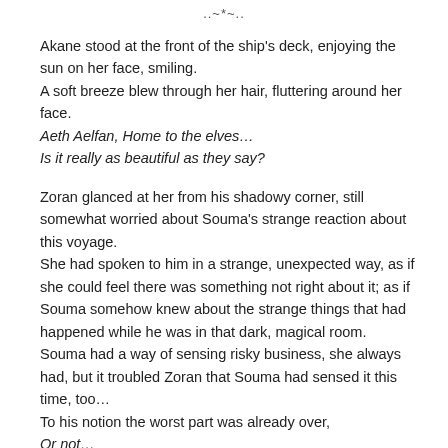..~*~..
Akane stood at the front of the ship's deck, enjoying the sun on her face, smiling.
A soft breeze blew through her hair, fluttering around her face.
Aeth Aelfan, Home to the elves…
Is it really as beautiful as they say?
Zoran glanced at her from his shadowy corner, still somewhat worried about Souma's strange reaction about this voyage.
She had spoken to him in a strange, unexpected way, as if she could feel there was something not right about it; as if Souma somehow knew about the strange things that had happened while he was in that dark, magical room.
Souma had a way of sensing risky business, she always had, but it troubled Zoran that Souma had sensed it this time, too…
To his notion the worst part was already over,
Or not…
"Boo!" Yevhen had snuck up to Akane and gave her a little push, so that it seemed she had lost balance and was about to fall overboard.
"Don't fall, now." He laughed, clearly pleased with his little joke.